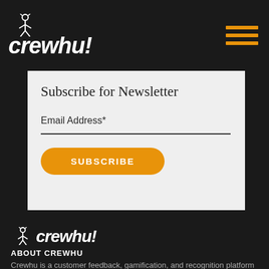[Figure (logo): Crewhu logo with stick figure person and text 'crewhu!' in white italic bold on black background, top header bar]
Subscribe for Newsletter
Email Address*
SUBSCRIBE
[Figure (logo): Crewhu logo with stick figure person and text 'crewhu!' in white italic bold on black footer background]
ABOUT CREWHU
Crewhu is a customer feedback, gamification, and recognition platform built for MSPs that makes it easy to engage and excite your team by focusing on the metrics